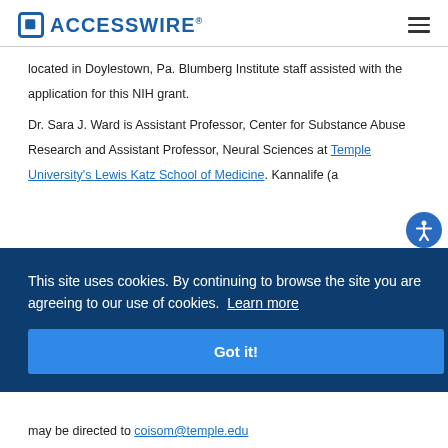ACCESSWIRE
located in Doylestown, Pa. Blumberg Institute staff assisted with the application for this NIH grant.
Dr. Sara J. Ward is Assistant Professor, Center for Substance Abuse Research and Assistant Professor, Neural Sciences at Temple University's Lewis Katz School of Medicine. Kannalife (a
This site uses cookies. By continuing to browse the site you are agreeing to our use of cookies. Learn more
Got it!
may be directed to coisom@temple.edu